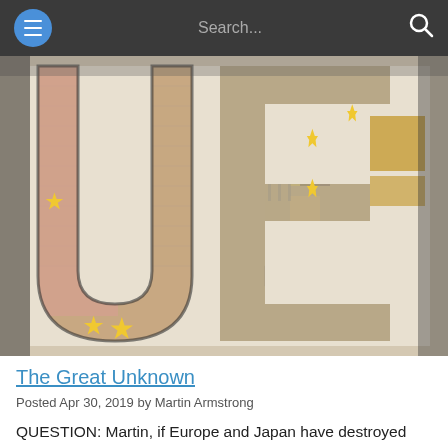Search...
[Figure (photo): Close-up image of euro banknote letters forming 'UE' with yellow stars visible, gold and tan tones, European currency artistic photo]
The Great Unknown
Posted Apr 30, 2019 by Martin Armstrong
QUESTION: Martin, if Europe and Japan have destroyed their bond markets, would it be a good idea for them to get the government out of the bond market and have [...]